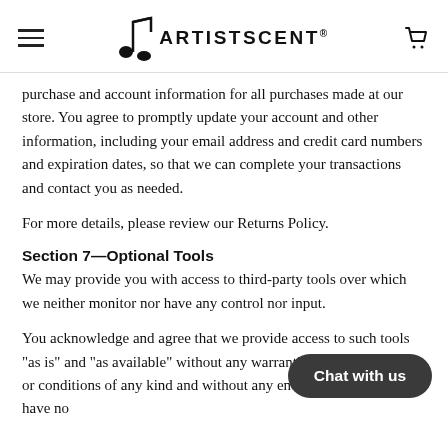ARTISTSCENT®
purchase and account information for all purchases made at our store. You agree to promptly update your account and other information, including your email address and credit card numbers and expiration dates, so that we can complete your transactions and contact you as needed.
For more details, please review our Returns Policy.
Section 7—Optional Tools
We may provide you with access to third-party tools over which we neither monitor nor have any control nor input.
You acknowledge and agree that we provide access to such tools "as is" and "as available" without any warranties, representations or conditions of any kind and without any endorsement. We shall have no